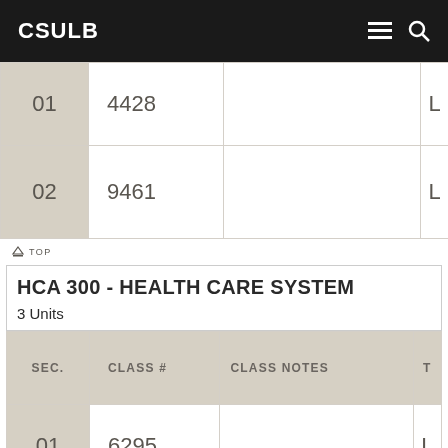CSULB
| SEC. | CLASS # | CLASS NOTES | T |
| --- | --- | --- | --- |
| 01 | 4428 |  | L |
| 02 | 9461 |  | L |
HCA 300 - HEALTH CARE SYSTEM
3 Units
| SEC. | CLASS # | CLASS NOTES | T |
| --- | --- | --- | --- |
| 01 | 6295 |  | L |